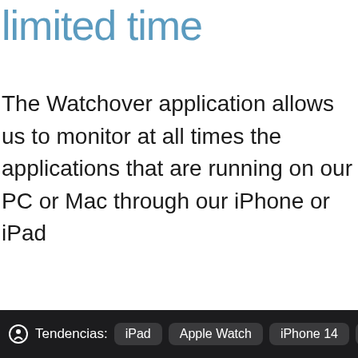limited time
The Watchover application allows us to monitor at all times the applications that are running on our PC or Mac through our iPhone or iPad
Tendencias: iPad  Apple Watch  iPhone 14  iC…